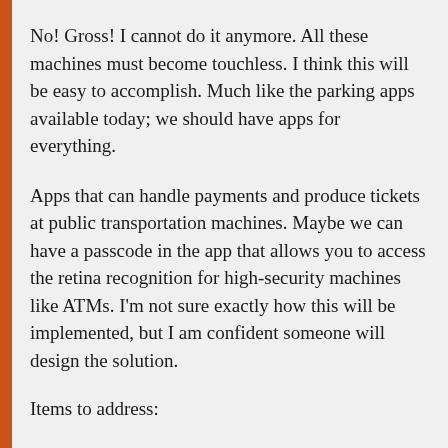No! Gross! I cannot do it anymore. All these machines must become touchless. I think this will be easy to accomplish. Much like the parking apps available today; we should have apps for everything.
Apps that can handle payments and produce tickets at public transportation machines. Maybe we can have a passcode in the app that allows you to access the retina recognition for high-security machines like ATMs. I'm not sure exactly how this will be implemented, but I am confident someone will design the solution.
Items to address: